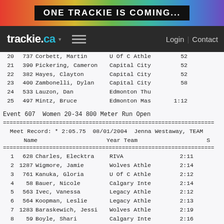[Figure (other): Rainbow gradient banner with text ONE TRACKIE IS COMING...]
trackie.ca  Login | Contact
| Place | Bib | Name | Team | S |
| --- | --- | --- | --- | --- |
| 20 | 737 | Corbett, Martin | U Of C Athle | 52 |
| 21 | 390 | Pickering, Cameron | Capital City | 52 |
| 22 | 382 | Hayes, Clayton | Capital City | 52 |
| 23 | 400 | Zambonelli, Dylan | Capital City | 58 |
| 24 | 533 | Lauzon, Dan | Edmonton Thu |  |
| 25 | 497 | Mintz, Bruce | Edmonton Mas | 1:12 |
Event 607  Women 20-34 800 Meter Run Open
| Place | Bib | Name | Team | S |
| --- | --- | --- | --- | --- |
| 1 | 628 | Charles, Elecktra | RIVA | 2:11 |
| 2 | 1287 | Wigmore, Jamie | Wolves Athle | 2:14 |
| 3 | 761 | Kanuka, Gloria | U Of C Athle | 2:12 |
| 4 | 58 | Bauer, Nicole | Calgary Inte | 2:14 |
| 5 | 563 | Ivec, Vanessa | Legacy Athle | 2:12 |
| 6 | 564 | Koopman, Leslie | Legacy Athle | 2:13 |
| 7 | 1283 | Baraskewich, Jessi | Wolves Athle | 2:19 |
| 8 | 59 | Boyle, Shari | Calgary Inte | 2:16 |
| 9 | 156 | Richard, Petra | Calgary Warr | 2:29 |
Event 608  Men 20-34 800 Meter Run Open
Meet Record: * 1:49.84  2011  David Holm, CW